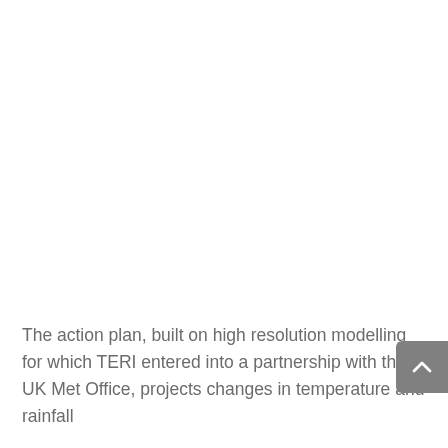The action plan, built on high resolution modelling for which TERI entered into a partnership with the UK Met Office, projects changes in temperature and rainfall